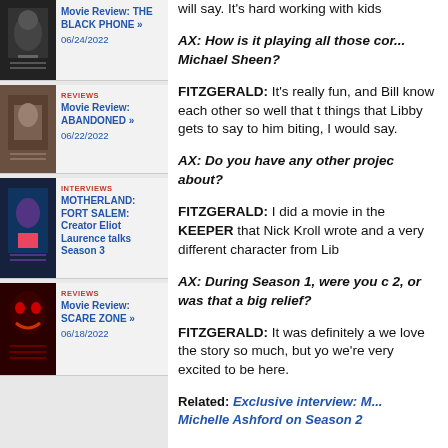[Figure (photo): Movie poster thumbnail for THE BLACK PHONE]
Movie Review: THE BLACK PHONE » 06/24/2022
REVIEWS Movie Review: ABANDONED » 06/22/2022
INTERVIEWS MOTHERLAND: FORT SALEM: Creator Eliot Laurence talks Season 3
REVIEWS Movie Review: SCARE ZONE » 06/18/2022
will say. It's hard working with kids
AX: How is it playing all those con... Michael Sheen?
FITZGERALD: It's really fun, and Bill know each other so well that things that Libby gets to say to him biting, I would say.
AX: Do you have any other project about?
FITZGERALD: I did a movie in the KEEPER that Nick Kroll wrote and a very different character from Lib
AX: During Season 1, were you c 2, or was that a big relief?
FITZGERALD: It was definitely a we love the story so much, but yo we're very excited to be here.
Related: Exclusive interview: M... Michelle Ashford on Season 2